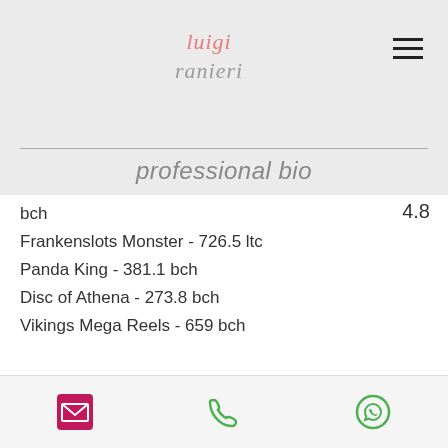luigi ranieri
professional bio
4.8
bch
Frankenslots Monster - 726.5 ltc
Panda King - 381.1 bch
Disc of Athena - 273.8 bch
Vikings Mega Reels - 659 bch
Popular Table Games:
Syndicate Casino Roboslots
Bspin.io Casino 1 Can 2 Can
BetChain Casino Robots Energy Conflict
[email icon] [phone icon] [whatsapp icon]